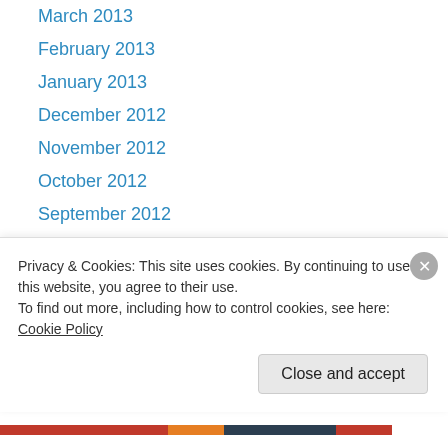March 2013
February 2013
January 2013
December 2012
November 2012
October 2012
September 2012
August 2012
Recent Posts
Ignorance is Far More Expensive Than Education
Guest Review of "The Beatles – Get Back" by Chris Turchetti
Privacy & Cookies: This site uses cookies. By continuing to use this website, you agree to their use.
To find out more, including how to control cookies, see here: Cookie Policy
Close and accept